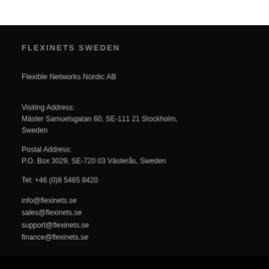FLEXINETS SWEDEN
Flexible Networks Nordic AB
Visiting Address:
Mäster Samuelsgatan 60, SE-111 21 Stockholm, Sweden
Postal Address:
P.O. Box 3029, SE-720 03 Västerås, Sweden
Tel: +46 (0)8 5465 8420
info@flexinets.se
sales@flexinets.se
support@flexinets.se
finance@flexinets.se